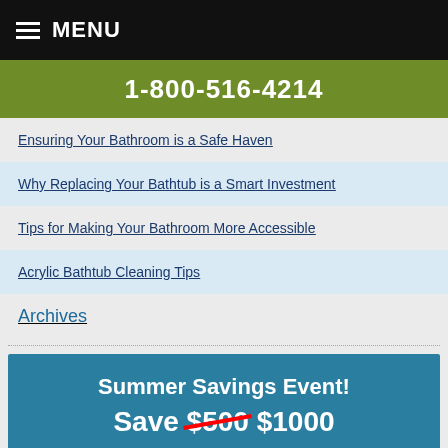MENU
1-800-516-4214
Ensuring Your Bathroom is a Safe Haven
Why Replacing Your Bathtub is a Smart Investment
Tips for Making Your Bathroom More Accessible
Acrylic Bathtub Cleaning Tips
Archives
Summer Savings Event! Save $500 $1000